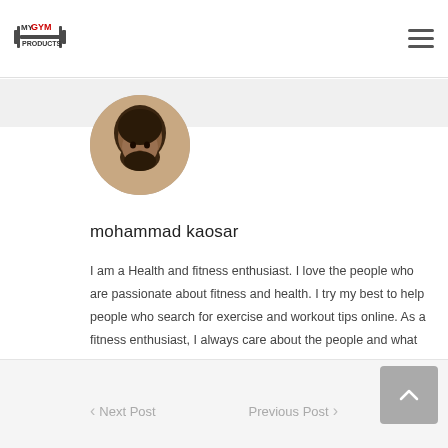MY GYM PRODUCTS
[Figure (photo): Circular profile photo of mohammad kaosar, a bearded man]
mohammad kaosar
I am a Health and fitness enthusiast. I love the people who are passionate about fitness and health. I try my best to help people who search for exercise and workout tips online. As a fitness enthusiast, I always care about the people and what they eat and see their diet as essential to their well-being.
Next Post   Previous Post